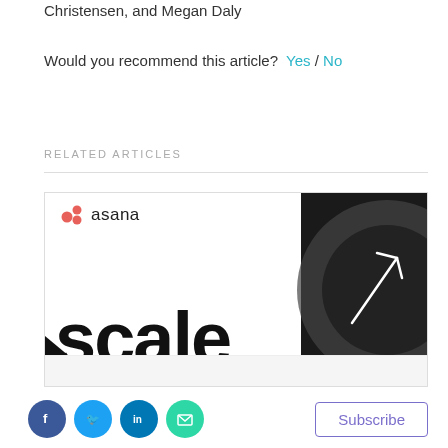Christensen, and Megan Daly
Would you recommend this article?  Yes / No
RELATED ARTICLES
[Figure (photo): Asana 'scale' promotional image with Asana logo (three red dots) on white background showing the word 'scale' in large bold text, and a dark panel on the right featuring a white line drawing on a dark circle.]
[Figure (other): Footer social share buttons (Facebook, Twitter, LinkedIn, Email) and a Subscribe button]